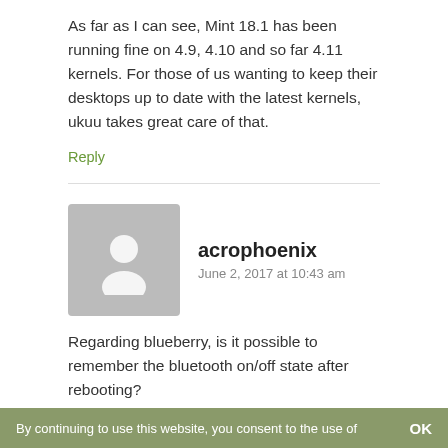As far as I can see, Mint 18.1 has been running fine on 4.9, 4.10 and so far 4.11 kernels. For those of us wanting to keep their desktops up to date with the latest kernels, ukuu takes great care of that.
Reply
[Figure (illustration): Generic user avatar silhouette on grey background]
acrophoenix
June 2, 2017 at 10:43 am
Regarding blueberry, is it possible to remember the bluetooth on/off state after rebooting?
Edit by Clem: Ah, I'm glad you're asking about this. So, people asked about this before and so it was added to the roadmap for 18.2. I've got both good and bad news... the good news is that we could reproduce
By continuing to use this website, you consent to the use of    OK